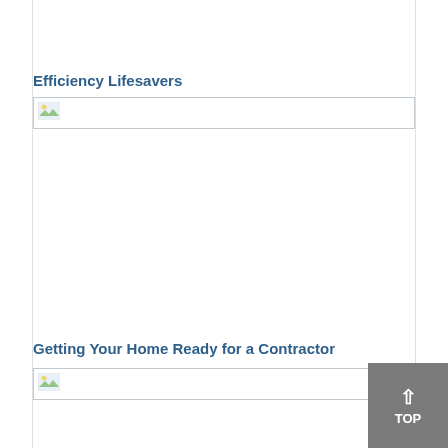Efficiency Lifesavers
[Figure (illustration): Broken/missing image placeholder for Efficiency Lifesavers article]
Getting Your Home Ready for a Contractor
[Figure (illustration): Broken/missing image placeholder for Getting Your Home Ready for a Contractor article]